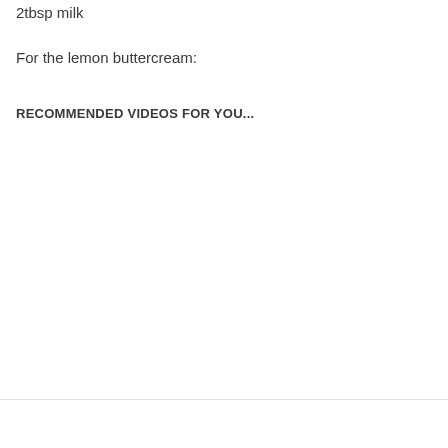2tbsp milk
For the lemon buttercream:
RECOMMENDED VIDEOS FOR YOU...